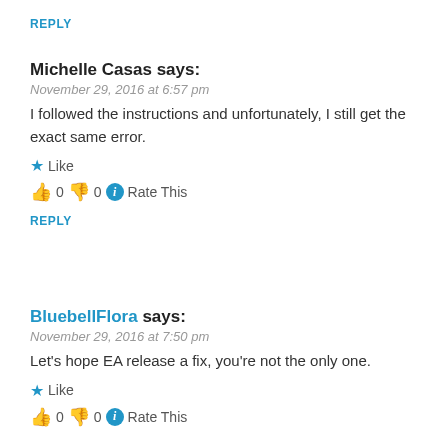REPLY
Michelle Casas says:
November 29, 2016 at 6:57 pm
I followed the instructions and unfortunately, I still get the exact same error.
★ Like
👍 0 👎 0 ℹ Rate This
REPLY
BluebellFlora says:
November 29, 2016 at 7:50 pm
Let's hope EA release a fix, you're not the only one.
★ Like
👍 0 👎 0 ℹ Rate This